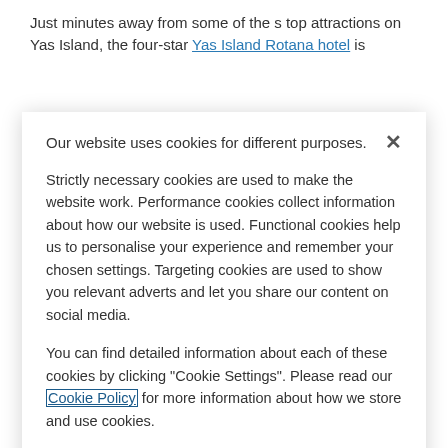Just minutes away from some of the s top attractions on Yas Island, the four-star Yas Island Rotana hotel is
Our website uses cookies for different purposes.
Strictly necessary cookies are used to make the website work. Performance cookies collect information about how our website is used. Functional cookies help us to personalise your experience and remember your chosen settings. Targeting cookies are used to show you relevant adverts and let you share our content on social media.
You can find detailed information about each of these cookies by clicking "Cookie Settings". Please read our Cookie Policy for more information about how we store and use cookies.
You can change these setting at any time by clicking "Cookie Settings" in the footer of our website.
Cookie Settings